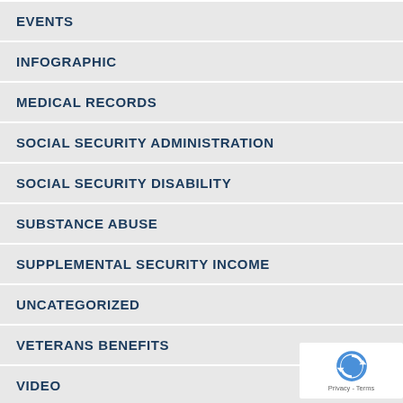EVENTS
INFOGRAPHIC
MEDICAL RECORDS
SOCIAL SECURITY ADMINISTRATION
SOCIAL SECURITY DISABILITY
SUBSTANCE ABUSE
SUPPLEMENTAL SECURITY INCOME
UNCATEGORIZED
VETERANS BENEFITS
VIDEO
ARCHIVES
AUGUST 2022
JULY 2022
JUNE 2022